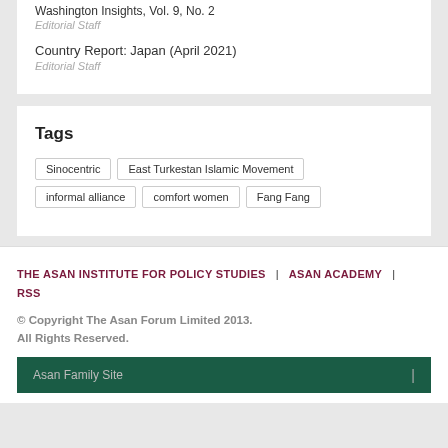Washington Insights, Vol. 9, No. 2
Editorial Staff
Country Report: Japan (April 2021)
Editorial Staff
Tags
Sinocentric
East Turkestan Islamic Movement
informal alliance
comfort women
Fang Fang
THE ASAN INSTITUTE FOR POLICY STUDIES | ASAN ACADEMY | RSS © Copyright The Asan Forum Limited 2013. All Rights Reserved. Asan Family Site |